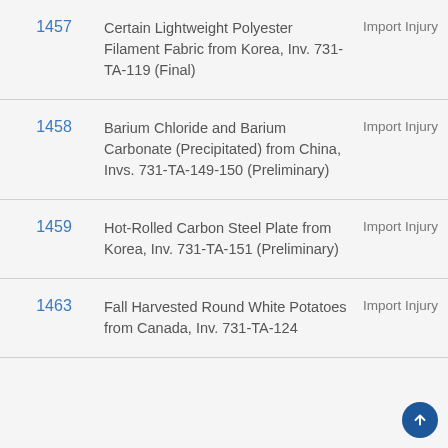| # | Description | Type |
| --- | --- | --- |
| 1457 | Certain Lightweight Polyester Filament Fabric from Korea, Inv. 731-TA-119 (Final) | Import Injury |
| 1458 | Barium Chloride and Barium Carbonate (Precipitated) from China, Invs. 731-TA-149-150 (Preliminary) | Import Injury |
| 1459 | Hot-Rolled Carbon Steel Plate from Korea, Inv. 731-TA-151 (Preliminary) | Import Injury |
| 1463 | Fall Harvested Round White Potatoes from Canada, Inv. 731-TA-124 | Import Injury |